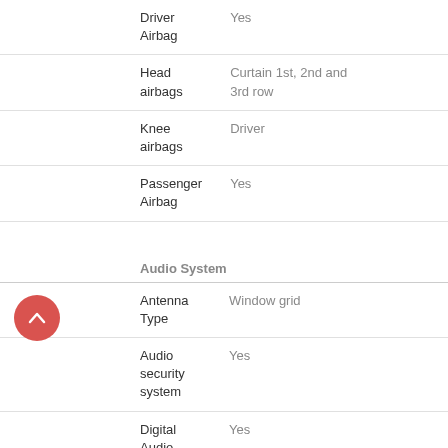| Feature | Value |
| --- | --- |
| Driver Airbag | Yes |
| Head airbags | Curtain 1st, 2nd and 3rd row |
| Knee airbags | Driver |
| Passenger Airbag | Yes |
Audio System
| Feature | Value |
| --- | --- |
| Antenna Type | Window grid |
| Audio security system | Yes |
| Digital Audio Input | Yes |
| DVD-Audio | Yes |
| In-Dash CD | 6-disc |
| Memory Card Slot | Yes |
| MP3 player | Yes |
| Premium Brand | COMAND |
| Premium Brand Speakers | Harman/kardon |
| Radio | SIRIUS AM/FM/HD/Satellite |
| Satellite Radio | SIRIUS |